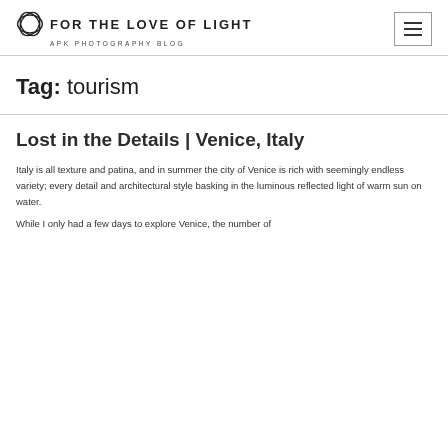FOR THE LOVE OF LIGHT — APK PHOTOGRAPHY BLOG
Tag: tourism
Lost in the Details | Venice, Italy
Italy is all texture and patina, and in summer the city of Venice is rich with seemingly endless variety; every detail and architectural style basking in the luminous reflected light of warm sun on water.
While I only had a few days to explore Venice, the number of